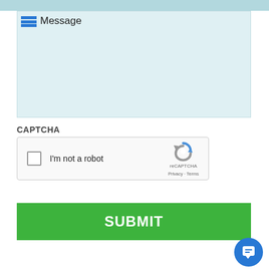[Figure (screenshot): Top decorative bar in light teal/blue color]
[Figure (screenshot): Message text area input field with light blue background and menu icon label]
CAPTCHA
[Figure (screenshot): reCAPTCHA widget with checkbox, I'm not a robot text, reCAPTCHA logo, Privacy and Terms links]
[Figure (screenshot): Green SUBMIT button]
[Figure (screenshot): Blue circular chat bubble icon in bottom right corner]